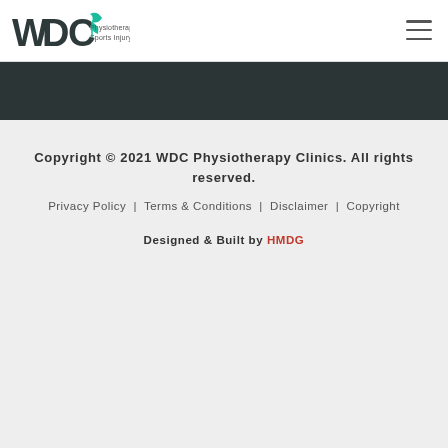WDC Physiotherapy & Sports Injury Clinic — logo and navigation menu
[Figure (logo): WDC Physiotherapy & Sports Injury Clinic logo with stylized lettering and teal/green plant motif]
Copyright © 2021 WDC Physiotherapy Clinics. All rights reserved.
Privacy Policy | Terms & Conditions | Disclaimer | Copyright
Designed & Built by HMDG